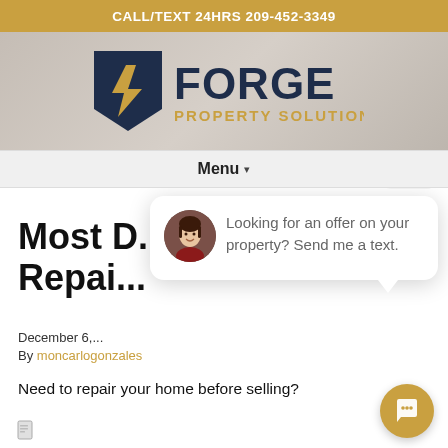CALL/TEXT 24HRS 209-452-3349
[Figure (logo): Forge Property Solutions logo with stylized F and lightning bolt, dark navy and gold colors]
Menu ▾
Most I... Repai...
December 6,...
By moncarlogonzales
Need to repair your home before selling?
[Figure (infographic): Chat popup with woman avatar and text: close / Looking for an offer on your property? Send me a text.]
[Figure (other): Gold circular chat button with speech bubble icon]